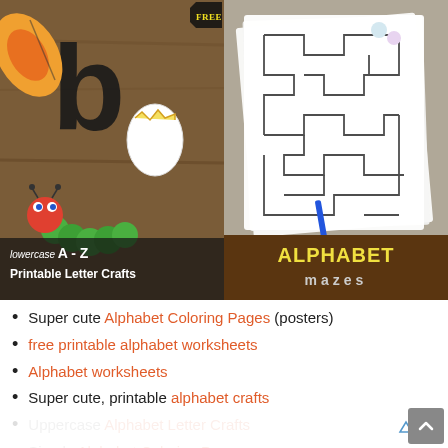[Figure (photo): Two side-by-side educational resource images. Left: 'lowercase A-Z Printable Letter Crafts' showing craft letters including a butterfly, caterpillar, and egg on a wood background. Right: 'Alphabet Mazes' showing printed maze worksheets.]
Super cute Alphabet Coloring Pages (posters)
free printable alphabet worksheets
Alphabet worksheets
Super cute, printable alphabet crafts
Uppercase Alphabet Letter Crafts
Simple Alphabet Coloring Pages